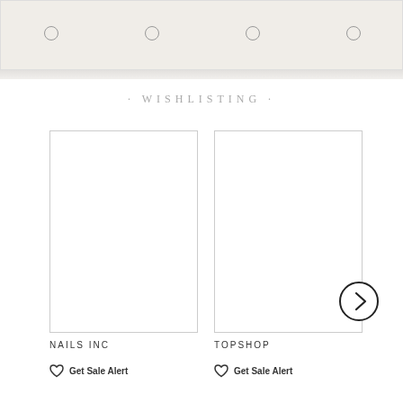[Figure (screenshot): Top navigation strip with four circular icons on a beige/cream background]
· WISHLISTING ·
[Figure (photo): Product card for Nails Inc - blank white image placeholder with grey border]
[Figure (photo): Product card for Topshop - blank white image placeholder with grey border]
NAILS INC
Get Sale Alert
TOPSHOP
Get Sale Alert